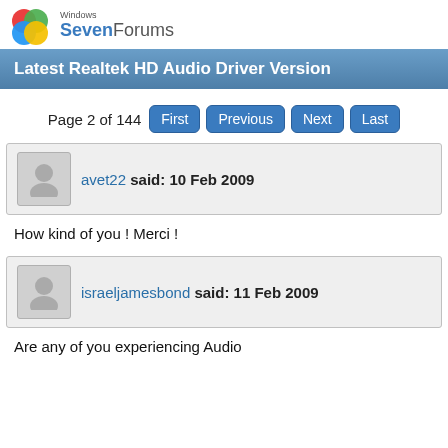Windows SevenForums
Latest Realtek HD Audio Driver Version
Page 2 of 144  First  Previous  Next  Last
avet22 said: 10 Feb 2009
How kind of you ! Merci !
israeljamesbond said: 11 Feb 2009
Are any of you experiencing Audio